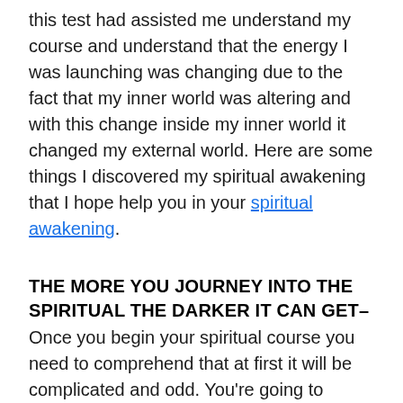this test had assisted me understand my course and understand that the energy I was launching was changing due to the fact that my inner world was altering and with this change inside my inner world it changed my external world. Here are some things I discovered my spiritual awakening that I hope help you in your spiritual awakening.
THE MORE YOU JOURNEY INTO THE SPIRITUAL THE DARKER IT CAN GET–
Once you begin your spiritual course you need to comprehend that at first it will be complicated and odd. You're going to relearn how to life in this world. It's an amazing journey overall but you will have your bumps